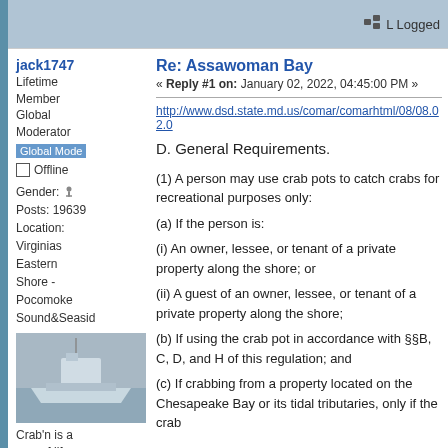Logged
jack1747
Lifetime Member
Global Moderator
Global Mode
☐ Offline
Gender:
Posts: 19639
Location: Virginias Eastern Shore - Pocomoke Sound&Seasid
[Figure (photo): Photo of a boat on the water, grayish-blue tones]
Crab'n is a way of life....
[Figure (illustration): Globe icon]
Re: Assawoman Bay
« Reply #1 on: January 02, 2022, 04:45:00 PM »
http://www.dsd.state.md.us/comar/comarhtml/08/08.02.0
D. General Requirements.
(1) A person may use crab pots to catch crabs for recreational purposes only:
(a) If the person is:
(i) An owner, lessee, or tenant of a private property along the shore; or
(ii) A guest of an owner, lessee, or tenant of a private property along the shore;
(b) If using the crab pot in accordance with §§B, C, D, and H of this regulation; and
(c) If crabbing from a property located on the Chesapeake Bay or its tidal tributaries, only if the crab